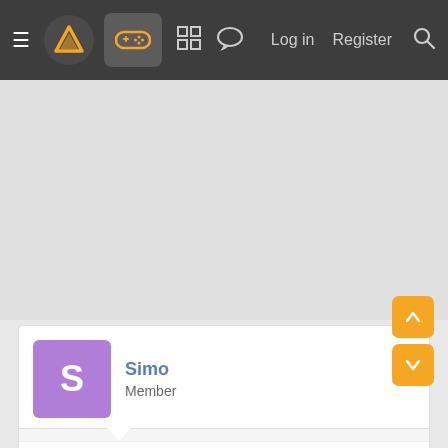≡  [logo]  [gamepad icon]  [grid icon]  [chat icon]  Log in  Register  [search]
[Figure (other): Gray advertisement/empty space area]
Simo
Member
Feb 2, 2016  #116
Lol I have 150k just from playing the game so I'm all good to get them next week.
That man